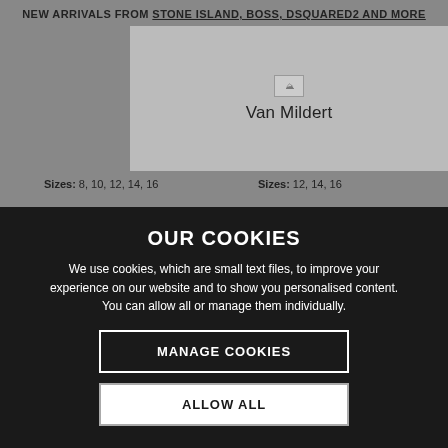NEW ARRIVALS FROM STONE ISLAND, BOSS, DSQUARED2 AND MORE
[Figure (logo): Van Mildert logo with broken image placeholder]
Sizes: 8, 10, 12, 14, 16
Sizes: 12, 14, 16
[Figure (photo): Kway - Boys Claude 3.0 Jacket product image (broken)]
[Figure (photo): Kway - Boys Claude 3.0 Jacket product image (broken)]
OUR COOKIES
We use cookies, which are small text files, to improve your experience on our website and to show you personalised content. You can allow all or manage them individually.
MANAGE COOKIES
ALLOW ALL